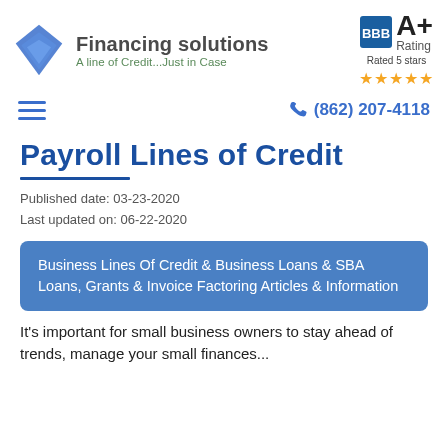[Figure (logo): Financing Solutions logo: blue diamond shape with company name and tagline, plus BBB A+ Rating badge with 5 stars]
Financing solutions | A line of Credit...Just in Case | BBB A+ Rating | Rated 5 stars
(862) 207-4118
Payroll Lines of Credit
Published date: 03-23-2020
Last updated on: 06-22-2020
Business Lines Of Credit & Business Loans & SBA Loans, Grants & Invoice Factoring Articles & Information
It's important for small business owners to stay ahead of trends, manage your small finances...